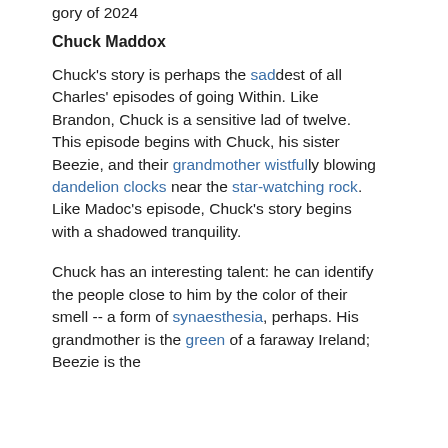gory of 2024
Chuck Maddox
Chuck's story is perhaps the saddest of all Charles' episodes of going Within. Like Brandon, Chuck is a sensitive lad of twelve. This episode begins with Chuck, his sister Beezie, and their grandmother wistfully blowing dandelion clocks near the star-watching rock. Like Madoc's episode, Chuck's story begins with a shadowed tranquility.
Chuck has an interesting talent: he can identify the people close to him by the color of their smell -- a form of synaesthesia, perhaps. His grandmother is the green of a faraway Ireland; Beezie is the